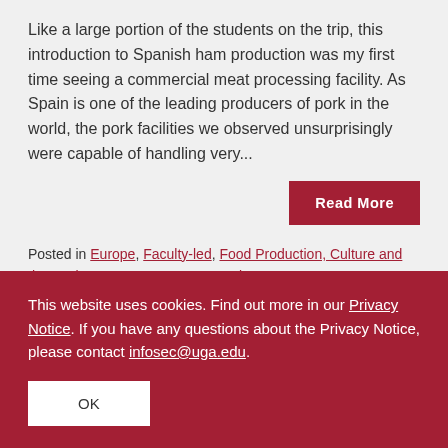Like a large portion of the students on the trip, this introduction to Spanish ham production was my first time seeing a commercial meat processing facility. As Spain is one of the leading producers of pork in the world, the pork facilities we observed unsurprisingly were capable of handling very...
Read More
Posted in Europe, Faculty-led, Food Production, Culture and the Environment, Maymester, Spain.
This website uses cookies. Find out more in our Privacy Notice. If you have any questions about the Privacy Notice, please contact infosec@uga.edu.
OK